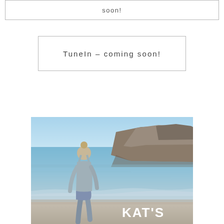soon!
TuneIn – coming soon!
[Figure (photo): A woman in a light blue tank top and denim shorts walking on a beach with rocky cliffs in the background. Text 'KAT'S' overlaid in white bold letters at the bottom right.]